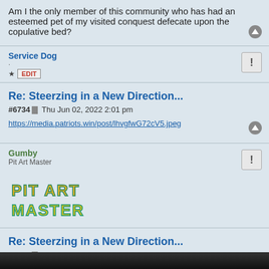Am I the only member of this community who has had an esteemed pet of my visited conquest defecate upon the copulative bed?
Service Dog
EDIT
Re: Steerzing in a New Direction...
#6734  Thu Jun 02, 2022 2:01 pm
https://media.patriots.win/post/lhvgfwG72cV5.jpeg
Gumby
Pit Art Master
[Figure (illustration): Pixel art style text reading PIT ART MASTER in yellow-green brick-like letters]
Re: Steerzing in a New Direction...
#6735  Thu Jun 02, 2022 2:47 pm
Just found this guy, pretty good stuff.
[Figure (photo): Partially visible image at bottom of page, dark background]